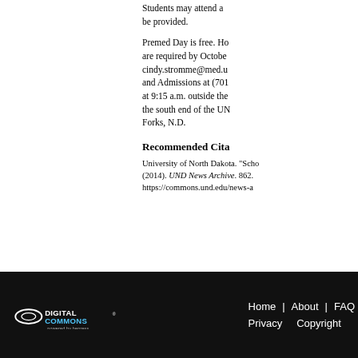Students may attend a be provided.
Premed Day is free. Ho are required by Octobe cindy.stromme@med.u and Admissions at (701 at 9:15 a.m. outside the the south end of the UN Forks, N.D.
Recommended Citat
University of North Dakota. "Scho (2014). UND News Archive. 862. https://commons.und.edu/news-a
Home | About | FAQ | Privacy | Copyright